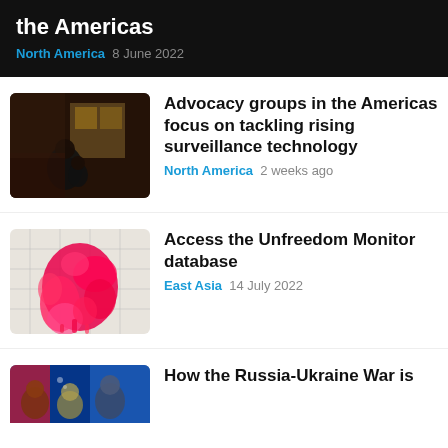the Americas
North America  8 June 2022
[Figure (photo): Dark photo of a person sitting with a child in a dimly lit room]
Advocacy groups in the Americas focus on tackling rising surveillance technology
North America  2 weeks ago
[Figure (photo): Map with red/pink ink splatter pattern overlaid on a grey map]
Access the Unfreedom Monitor database
East Asia  14 July 2022
[Figure (photo): Blue background with people's faces, flags visible]
How the Russia-Ukraine War is